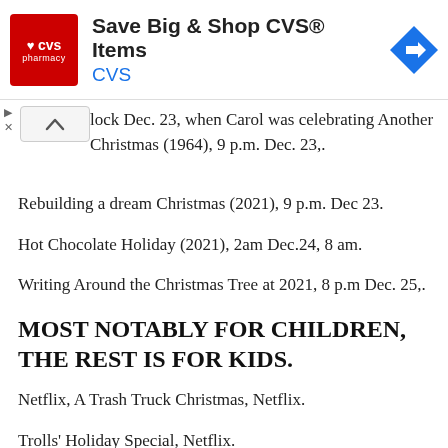[Figure (other): CVS Pharmacy advertisement banner with red logo, 'Save Big & Shop CVS® Items' headline, 'CVS' URL in blue, and a blue navigation arrow icon]
lock Dec. 23, when Carol was celebrating Another Christmas (1964), 9 p.m. Dec. 23,.
Rebuilding a dream Christmas (2021), 9 p.m. Dec 23.
Hot Chocolate Holiday (2021), 2am Dec.24, 8 am.
Writing Around the Christmas Tree at 2021, 8 p.m Dec. 25,.
MOST NOTABLY FOR CHILDREN, THE REST IS FOR KIDS.
Netflix, A Trash Truck Christmas, Netflix.
Trolls' Holiday Special, Netflix.